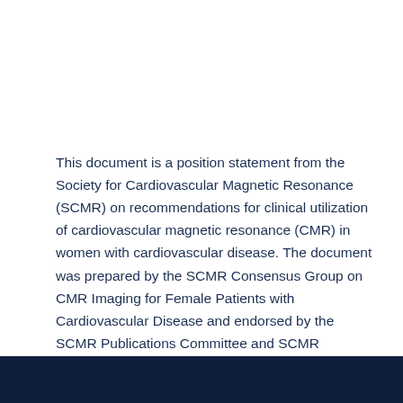This document is a position statement from the Society for Cardiovascular Magnetic Resonance (SCMR) on recommendations for clinical utilization of cardiovascular magnetic resonance (CMR) in women with cardiovascular disease. The document was prepared by the SCMR Consensus Group on CMR Imaging for Female Patients with Cardiovascular Disease and endorsed by the SCMR Publications Committee and SCMR Executive Committee. The goals of this document are to (1) guide the informed selection of cardiovascular imaging methods, (2) inform clinical